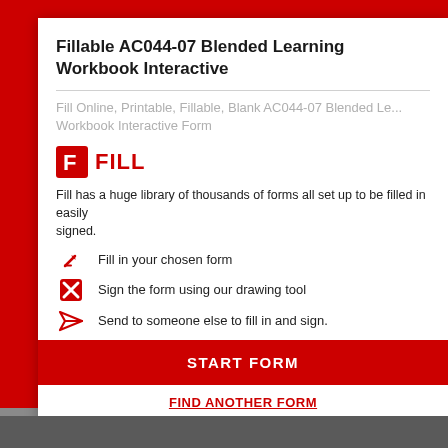Fillable AC044-07 Blended Learning Workbook Interactive
Fill Online, Printable, Fillable, Blank AC044-07 Blended Learning Workbook Interactive Form
[Figure (logo): Fill app logo: red square-F icon followed by red bold text FILL]
Fill has a huge library of thousands of forms all set up to be filled in easily and signed.
Fill in your chosen form
Sign the form using our drawing tool
Send to someone else to fill in and sign.
START FORM
FIND ANOTHER FORM